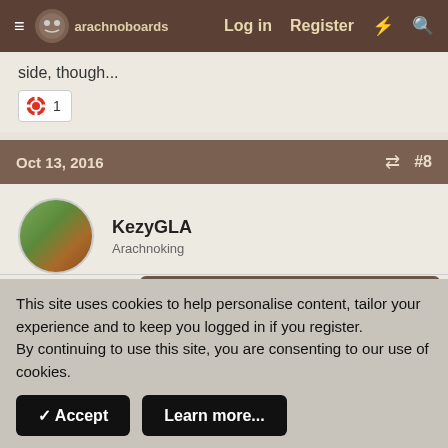arachnoboards  Log in  Register
side, though...
🛟 1
Oct 13, 2016  #8
KezyGLA
Arachnoking
Most Aphonopelma species (especially A. seemanni) are good beginner and display Ts, and mine is a good sider 5".
Hello there, why not take a few seconds to register on our forums and become part of the community? Just click here.
But if you want to see an active T stay up late nights and
This site uses cookies to help personalise content, tailor your experience and to keep you logged in if you register.
By continuing to use this site, you are consenting to our use of cookies.
✓ Accept   Learn more...